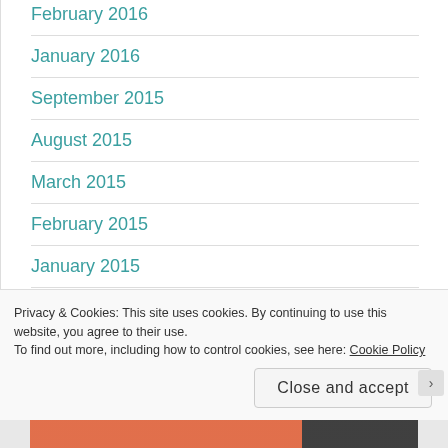February 2016
January 2016
September 2015
August 2015
March 2015
February 2015
January 2015
December 2014
Privacy & Cookies: This site uses cookies. By continuing to use this website, you agree to their use.
To find out more, including how to control cookies, see here: Cookie Policy
Close and accept